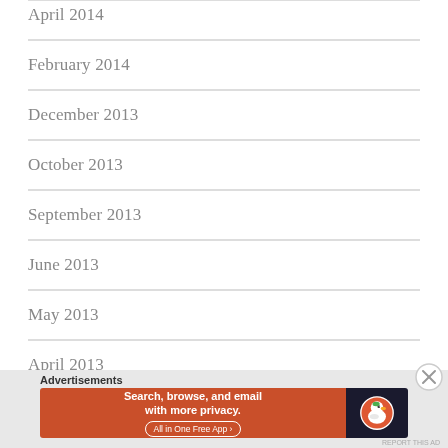April 2014
February 2014
December 2013
October 2013
September 2013
June 2013
May 2013
April 2013
January 2013
Advertisements
[Figure (screenshot): DuckDuckGo advertisement banner: orange left panel with text 'Search, browse, and email with more privacy. All in One Free App', dark right panel with DuckDuckGo duck logo]